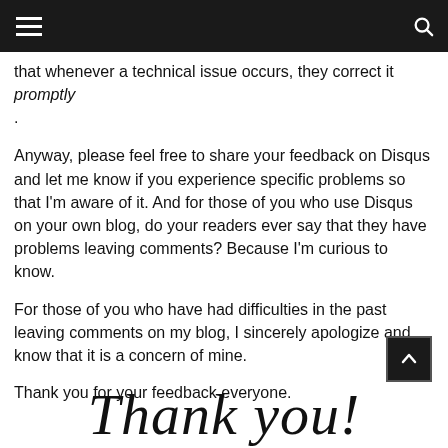☰ [menu] [search]
that whenever a technical issue occurs, they correct it promptly.
Anyway, please feel free to share your feedback on Disqus and let me know if you experience specific problems so that I'm aware of it. And for those of you who use Disqus on your own blog, do your readers ever say that they have problems leaving comments? Because I'm curious to know.
For those of you who have had difficulties in the past leaving comments on my blog, I sincerely apologize and know that it is a concern of mine.
Thank you for your feedback everyone.
[Figure (other): Scroll to top button with upward chevron arrow on dark background]
Thank you!